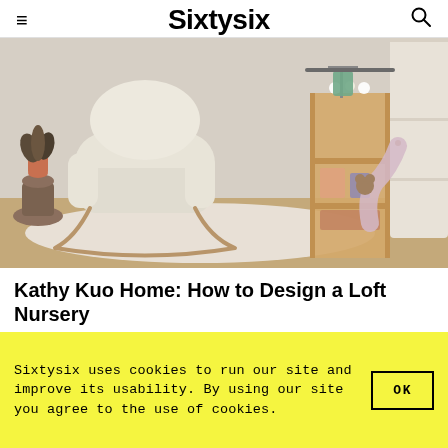≡  Sixtysix  🔍
[Figure (photo): A nursery room featuring a cream/white upholstered rocking chair with rose gold legs on a fluffy white rug, a wooden shelf unit with toys and folded items, baby clothes hanging, a plant in terracotta pot on a wooden stool, and a white dresser/crib partially visible.]
Kathy Kuo Home: How to Design a Loft Nursery
Sixtysix uses cookies to run our site and improve its usability. By using our site you agree to the use of cookies.